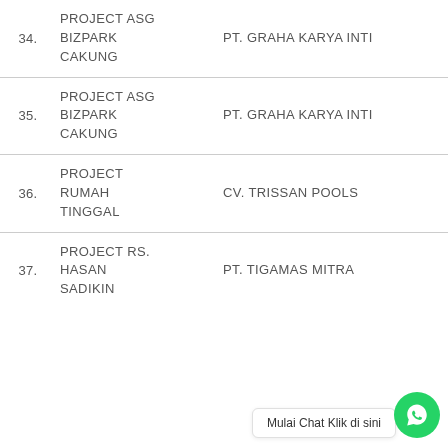34. PROJECT ASG BIZPARK CAKUNG — PT. GRAHA KARYA INTI
35. PROJECT ASG BIZPARK CAKUNG — PT. GRAHA KARYA INTI
36. PROJECT RUMAH TINGGAL — CV. TRISSAN POOLS
37. PROJECT RS. HASAN SADIKIN — PT. TIGAMAS MITRA
Mulai Chat Klik di sini